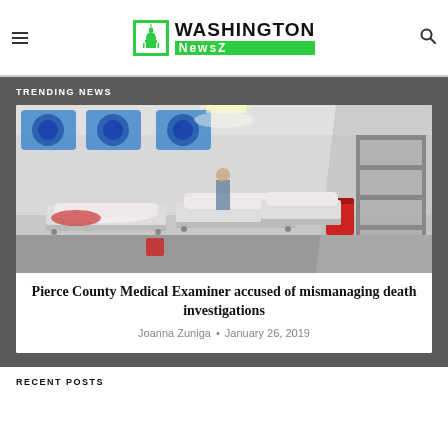Washington NewsZ
TRENDING NEWS
[Figure (photo): Interior of a morgue or cold storage room showing several body bags on metal gurneys/tables in a refrigerated room with industrial cooling units on the wall and metal racks in the background.]
Pierce County Medical Examiner accused of mismanaging death investigations
Joanna Zuniga • January 26, 2019
RECENT POSTS